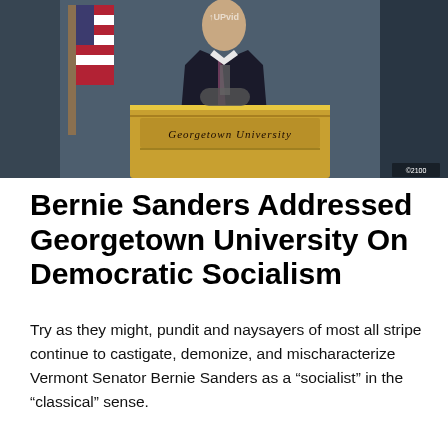[Figure (photo): A person in a dark suit standing at a Georgetown University podium with a microphone, with an American flag visible to the left and a dark background.]
Bernie Sanders Addressed Georgetown University On Democratic Socialism
Try as they might, pundit and naysayers of most all stripe continue to castigate, demonize, and mischaracterize Vermont Senator Bernie Sanders as a “socialist” in the “classical” sense.
The “classical” sense, or definition of “socialism” is when a government controls the means -and- the method of production. Period. End of conversation.